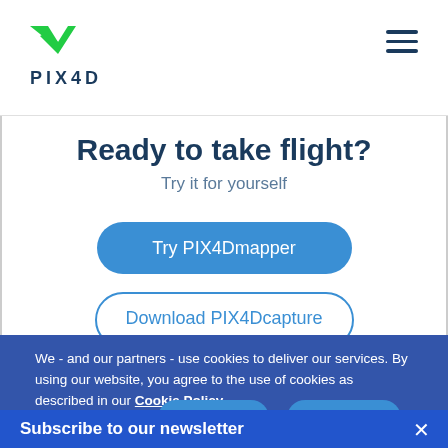[Figure (logo): PIX4D logo with green checkmark/arrow icon and PIX4D text in dark blue]
Ready to take flight?
Try it for yourself
Try PIX4Dmapper
Download PIX4Dcapture
We - and our partners - use cookies to deliver our services. By using our website, you agree to the use of cookies as described in our Cookie Policy.
Settings
Reject All
Accept All
Subscribe to our newsletter